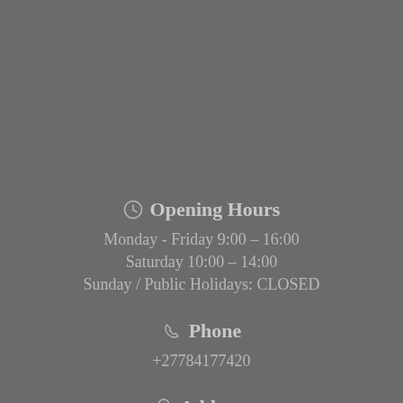Opening Hours
Monday - Friday 9:00 - 16:00
Saturday 10:00 - 14:00
Sunday / Public Holidays: CLOSED
Phone
+27784177420
Address